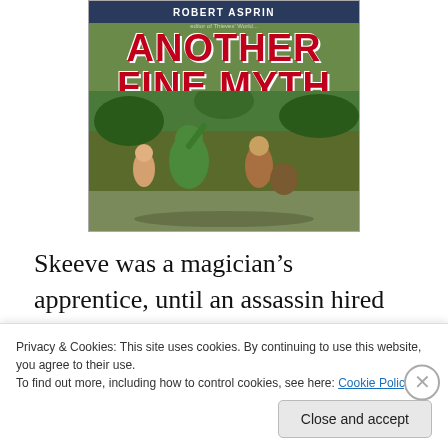[Figure (illustration): Book cover of 'Another Fine Myth' by Robert Asprin, showing fantasy characters including a green creature and a human figure, with a jungle background. Title in large red letters.]
Skeeve was a magician’s apprentice, until an assassin hired by an ancient enemy struck and his master was dead. Skeeve suddenly found himself alone with Aahz, a
Privacy & Cookies: This site uses cookies. By continuing to use this website, you agree to their use.
To find out more, including how to control cookies, see here: Cookie Policy
Close and accept